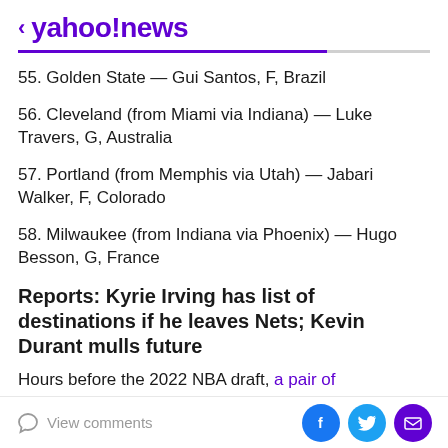< yahoo!news
55. Golden State — Gui Santos, F, Brazil
56. Cleveland (from Miami via Indiana) — Luke Travers, G, Australia
57. Portland (from Memphis via Utah) — Jabari Walker, F, Colorado
58. Milwaukee (from Indiana via Phoenix) — Hugo Besson, G, France
Reports: Kyrie Irving has list of destinations if he leaves Nets; Kevin Durant mulls future
Hours before the 2022 NBA draft, a pair of
View comments